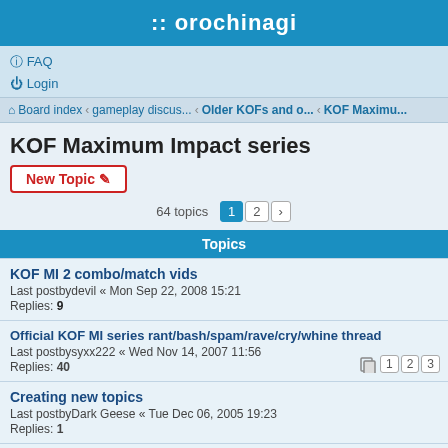:: orochinagi
FAQ
Login
Board index · gameplay discus... · Older KOFs and o... · KOF Maximu...
KOF Maximum Impact series
New Topic
64 topics  1  2  >
Topics
KOF MI 2 combo/match vids
Last postbydevil « Mon Sep 22, 2008 15:21
Replies: 9
Official KOF MI series rant/bash/spam/rave/cry/whine thread
Last postbysyxx222 « Wed Nov 14, 2007 11:56
Replies: 40
Creating new topics
Last postbyDark Geese « Tue Dec 06, 2005 19:23
Replies: 1
[MI2] Luise Meyrink
Last postbyBlue_Blood « Tue Jul 06, 2010 00:38
Replies: 3